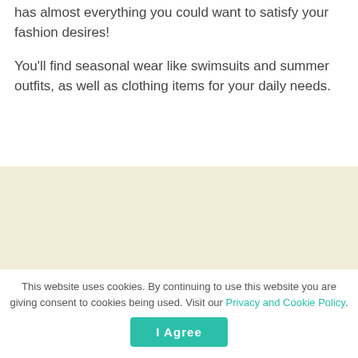has almost everything you could want to satisfy your fashion desires!
You'll find seasonal wear like swimsuits and summer outfits, as well as clothing items for your daily needs.
[Figure (other): A large beige/cream colored rectangular area, likely an advertisement or image placeholder.]
This website uses cookies. By continuing to use this website you are giving consent to cookies being used. Visit our Privacy and Cookie Policy.